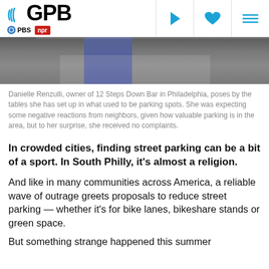GPB | PBS | NPR
[Figure (photo): Photo of Danielle Renzulli standing by outdoor tables set up in former parking spots, wearing jeans, partial torso view]
Danielle Renzulli, owner of 12 Steps Down Bar in Philadelphia, poses by the tables she has set up in what used to be parking spots. She was expecting some negative reactions from neighbors, given how valuable parking is in the area, but to her surprise, she received no complaints.
In crowded cities, finding street parking can be a bit of a sport. In South Philly, it's almost a religion.
And like in many communities across America, a reliable wave of outrage greets proposals to reduce street parking — whether it's for bike lanes, bikeshare stands or green space.
But something strange happened this summer